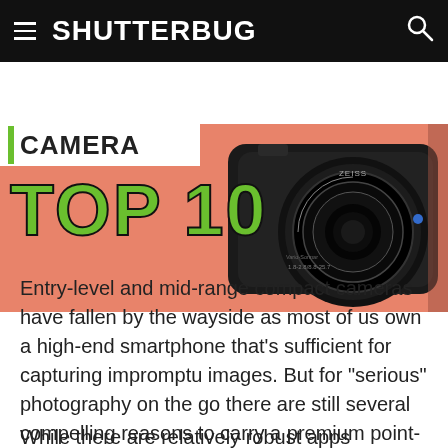SHUTTERBUG
[Figure (photo): Hero image showing a compact camera (Sony with Zeiss lens) on a salmon/orange background with 'CAMERA' text strip and large green 'TOP 10' text overlay]
Entry-level and mid-range compact cameras have fallen by the wayside as most of us own a high-end smartphone that’s sufficient for capturing impromptu images. But for “serious” photography on the go there are still several compelling reasons to carry a premium point-and shoot camera with easily accessible creative controls.
While there are relatively robust apps enabling you